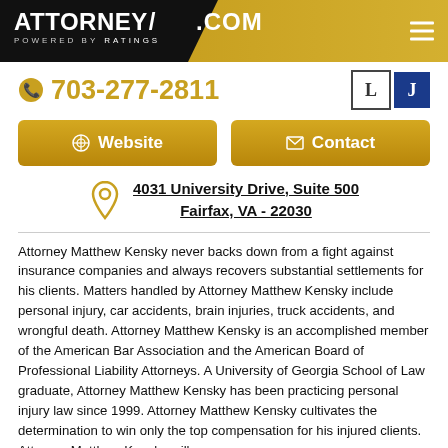ATTORNEY.COM POWERED BY RATINGS
703-277-2811
Website   Contact
4031 University Drive, Suite 500
Fairfax, VA - 22030
Attorney Matthew Kensky never backs down from a fight against insurance companies and always recovers substantial settlements for his clients. Matters handled by Attorney Matthew Kensky include personal injury, car accidents, brain injuries, truck accidents, and wrongful death. Attorney Matthew Kensky is an accomplished member of the American Bar Association and the American Board of Professional Liability Attorneys. A University of Georgia School of Law graduate, Attorney Matthew Kensky has been practicing personal injury law since 1999. Attorney Matthew Kensky cultivates the determination to win only the top compensation for his injured clients. Attorney Matthew Kensky will